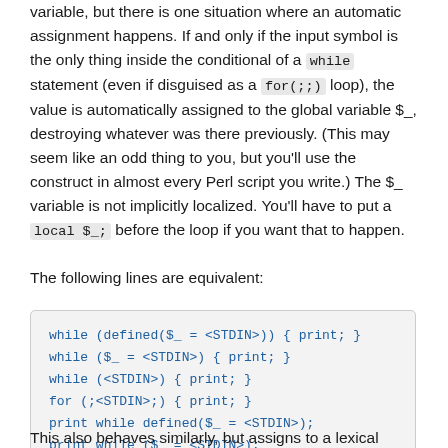variable, but there is one situation where an automatic assignment happens. If and only if the input symbol is the only thing inside the conditional of a while statement (even if disguised as a for(;;) loop), the value is automatically assigned to the global variable $_, destroying whatever was there previously. (This may seem like an odd thing to you, but you'll use the construct in almost every Perl script you write.) The $_ variable is not implicitly localized. You'll have to put a local $_; before the loop if you want that to happen.
The following lines are equivalent:
[Figure (other): Code block showing equivalent Perl while/for loop forms reading from STDIN]
This also behaves similarly, but assigns to a lexical